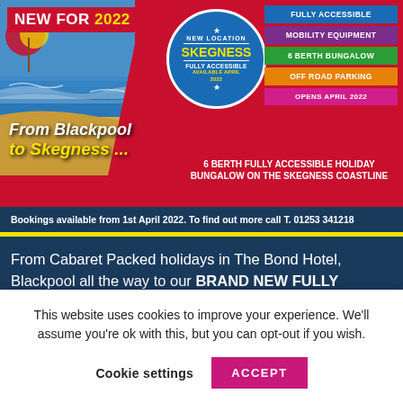[Figure (infographic): Holiday advertisement banner for accessible holidays in Skegness 2022. Shows beach photo, 'NEW FOR 2022' label, circle badge with 'NEW LOCATION SKEGNESS FULLY ACCESSIBLE AVAILABLE APRIL 2022', feature boxes (FULLY ACCESSIBLE, MOBILITY EQUIPMENT, 6 BERTH BUNGALOW, OFF ROAD PARKING, OPENS APRIL 2022), text 'From Blackpool to Skegness...', and '6 BERTH FULLY ACCESSIBLE HOLIDAY BUNGALOW ON THE SKEGNESS COASTLINE'.]
Bookings available from 1st April 2022. To find out more call T. 01253 341218
From Cabaret Packed holidays in The Bond Hotel, Blackpool all the way to our BRAND NEW FULLY ADAPTED DISABLED HOLIDAY COTTAGE in SKEGNESS! As a family we are always expanding and adding extras into your holiday
This website uses cookies to improve your experience. We'll assume you're ok with this, but you can opt-out if you wish.
Cookie settings
ACCEPT